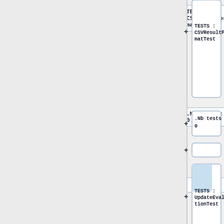[Figure (flowchart): UML/class diagram tree viewer showing expandable nodes. Node 1: TESTS : CSVResultFormatTest with + button. Node 2: .Nb tests : 0 with + button. Node 3: empty node with + button. Node 4: TESTS : UpdateEvaluationTest with blue inner panel and + button. Node 5: .Nb tests : 0 with + button. Node 6: empty node with + button. Node 7: TESTS : (partial, cut off) with blue inner panel and + button.]